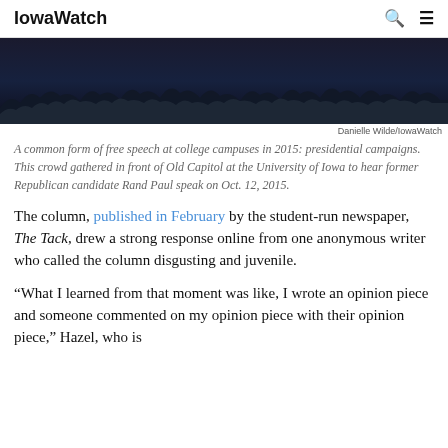IowaWatch
[Figure (photo): Dark crowd gathered outdoors, silhouette of large group of people in front of a building at night or dusk]
Danielle Wilde/IowaWatch
A common form of free speech at college campuses in 2015: presidential campaigns. This crowd gathered in front of Old Capitol at the University of Iowa to hear former Republican candidate Rand Paul speak on Oct. 12, 2015.
The column, published in February by the student-run newspaper, The Tack, drew a strong response online from one anonymous writer who called the column disgusting and juvenile.
“What I learned from that moment was like, I wrote an opinion piece and someone commented on my opinion piece with their opinion piece,” Hazel, who is